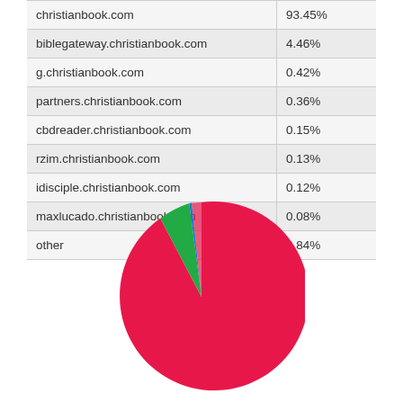|  |  |
| --- | --- |
| christianbook.com | 93.45% |
| biblegateway.christianbook.com | 4.46% |
| g.christianbook.com | 0.42% |
| partners.christianbook.com | 0.36% |
| cbdreader.christianbook.com | 0.15% |
| rzim.christianbook.com | 0.13% |
| idisciple.christianbook.com | 0.12% |
| maxlucado.christianbook.com | 0.08% |
| other | 0.84% |
[Figure (pie-chart): ]